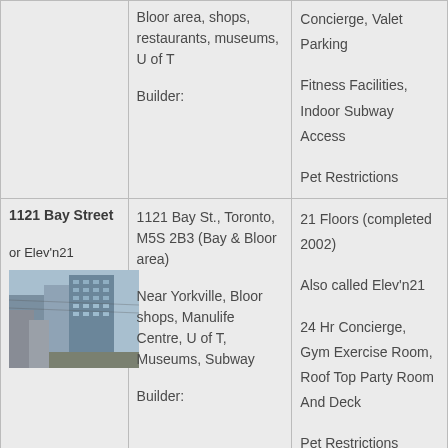| Building | Location / Description | Features |
| --- | --- | --- |
|  | Bloor area, shops, restaurants, museums, U of T

Builder: | Concierge, Valet Parking

Fitness Facilities, Indoor Subway Access

Pet Restrictions |
| 1121 Bay Street

or Elev'n21

[photo] | 1121 Bay St., Toronto, M5S 2B3 (Bay & Bloor area)

Near Yorkville, Bloor shops, Manulife Centre, U of T, Museums, Subway

Builder: | 21 Floors (completed 2002)

Also called Elev'n21

24 Hr Concierge, Gym Exercise Room, Roof Top Party Room And Deck

Pet Restrictions |
|  |  | 18 Fl... |